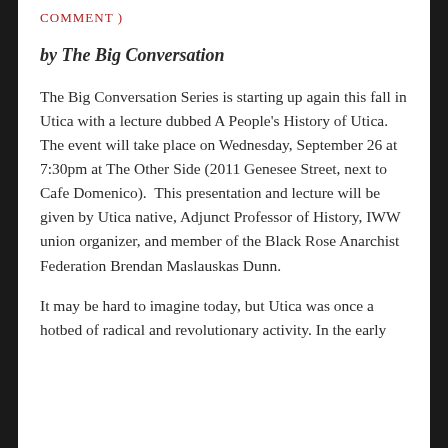COMMENT )
by The Big Conversation
The Big Conversation Series is starting up again this fall in Utica with a lecture dubbed A People's History of Utica. The event will take place on Wednesday, September 26 at 7:30pm at The Other Side (2011 Genesee Street, next to Cafe Domenico).  This presentation and lecture will be given by Utica native, Adjunct Professor of History, IWW union organizer, and member of the Black Rose Anarchist Federation Brendan Maslauskas Dunn.
It may be hard to imagine today, but Utica was once a hotbed of radical and revolutionary activity. In the early